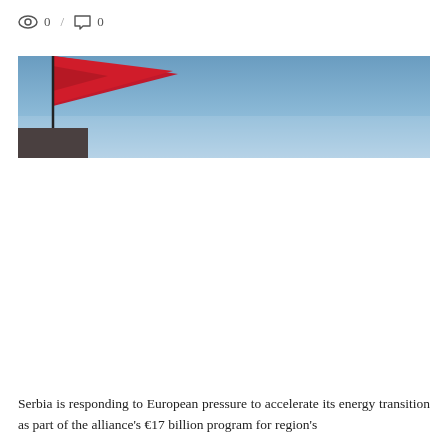0 / 0
[Figure (photo): A red flag against a clear blue sky, cropped horizontally. The flag is partially visible in the lower-left corner of the image.]
Serbia is responding to European pressure to accelerate its energy transition as part of the alliance's €17 billion program for region's